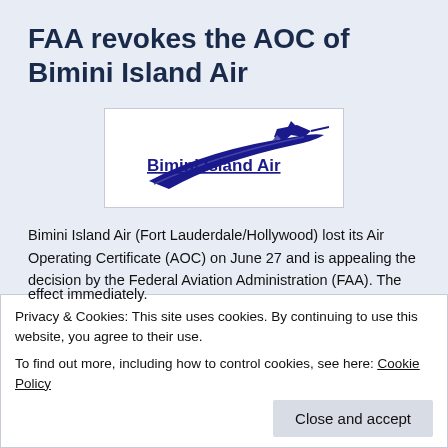FAA revokes the AOC of Bimini Island Air
[Figure (logo): Bimini Island Air logo with stylized marlin fish and blue swoosh, text reads 'Bimini Island Air' in bold dark blue with underline]
Bimini Island Air (Fort Lauderdale/Hollywood) lost its Air Operating Certificate (AOC) on June 27 and is appealing the decision by the Federal Aviation Administration (FAA). The FAA issued the following statement:
Privacy & Cookies: This site uses cookies. By continuing to use this website, you agree to their use.
To find out more, including how to control cookies, see here: Cookie Policy
effect immediately.